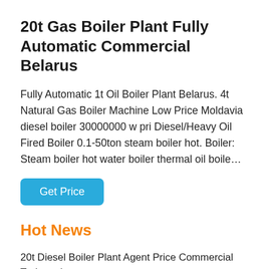20t Gas Boiler Plant Fully Automatic Commercial Belarus
Fully Automatic 1t Oil Boiler Plant Belarus. 4t Natural Gas Boiler Machine Low Price Moldavia diesel boiler 30000000 w pri Diesel/Heavy Oil Fired Boiler 0.1-50ton steam boiler hot. Boiler: Steam boiler hot water boiler thermal oil boile…
Get Price
Hot News
20t Diesel Boiler Plant Agent Price Commercial Turkmenistan
Commercial Dealer Gas Boiler Machine Moldavia